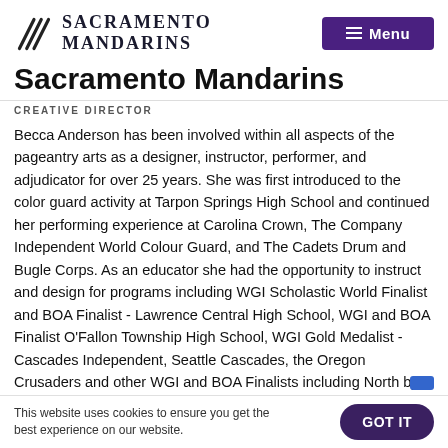Sacramento Mandarins — Menu
Sacramento Mandarins
CREATIVE DIRECTOR
Becca Anderson has been involved within all aspects of the pageantry arts as a designer, instructor, performer, and adjudicator for over 25 years. She was first introduced to the color guard activity at Tarpon Springs High School and continued her performing experience at Carolina Crown, The Company Independent World Colour Guard, and The Cadets Drum and Bugle Corps. As an educator she had the opportunity to instruct and design for programs including WGI Scholastic World Finalist and BOA Finalist - Lawrence Central High School, WGI and BOA Finalist O'Fallon Township High School, WGI Gold Medalist - Cascades Independent, Seattle Cascades, the Oregon Crusaders and other WGI and BOA Finalists including North by Northwest IO, Friendswood
This website uses cookies to ensure you get the best experience on our website.
GOT IT